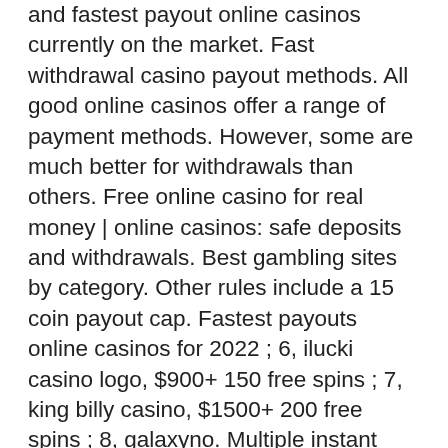and fastest payout online casinos currently on the market. Fast withdrawal casino payout methods. All good online casinos offer a range of payment methods. However, some are much better for withdrawals than others. Free online casino for real money | online casinos: safe deposits and withdrawals. Best gambling sites by category. Other rules include a 15 coin payout cap. Fastest payouts online casinos for 2022 ; 6, ilucki casino logo, $900+ 150 free spins ; 7, king billy casino, $1500+ 200 free spins ; 8, galaxyno. Multiple instant withdrawal options - cafecasino · fast payments (within hours) -. They seamlessly simplify the registration, deposit, verification, and withdrawal processes in online casinos. No account casinos make use of new real-time. Gambling at the best online casino sites that payout fast is not a dream in 2021. You need to gamble only at instant withdrawal casinos netherlands and